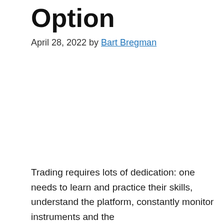Option
April 28, 2022 by Bart Bregman
Trading requires lots of dedication: one needs to learn and practice their skills, understand the platform, constantly monitor instruments and the